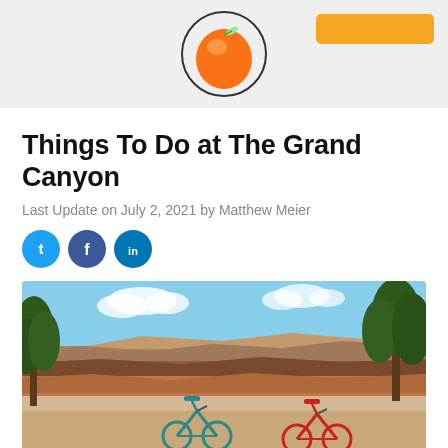[Figure (logo): Orange/peach logo with circular design, website header logo]
Things To Do at The Grand Canyon
Last Update on July 2, 2021 by Matthew Meier
[Figure (infographic): Social media share buttons: Twitter (blue circle), Facebook (dark blue circle), LinkedIn (blue circle)]
[Figure (photo): Two bicycles (one teal/green, one red) at the Grand Canyon South Rim overlook with canyon landscape, trees, and blue sky in background]